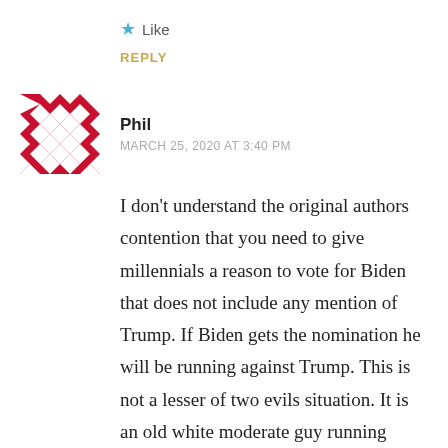★ Like
REPLY
Phil
MARCH 25, 2020 AT 3:40 PM
I don't understand the original authors contention that you need to give millennials a reason to vote for Biden that does not include any mention of Trump. If Biden gets the nomination he will be running against Trump. This is not a lesser of two evils situation. It is an old white moderate guy running against the Antichrist. What more